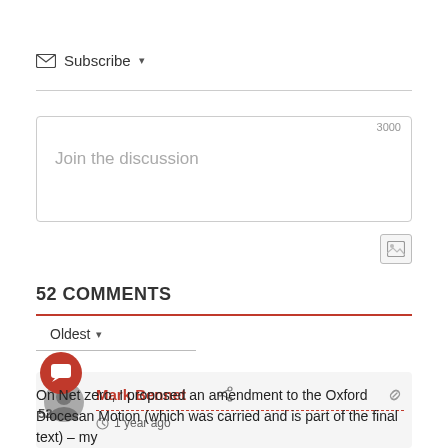✉ Subscribe ▾
3000
Join the discussion
52 COMMENTS
Oldest ▾
Mark Bennet
1 year ago
On Net zero, I proposed an amendment to the Oxford Diocesan Motion (which was carried and is part of the final text) – my